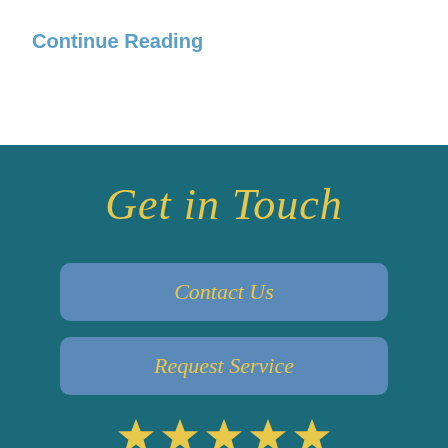Continue Reading
Get in Touch
Contact Us
Request Service
[Figure (infographic): Ten gold stars arranged in two rows of five, representing a rating display]
4.94/5 - 34 reviews